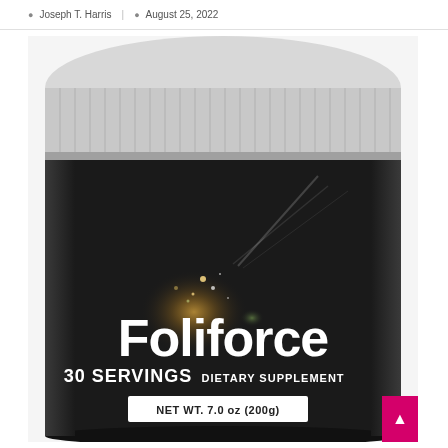Joseph T. Harris | August 25, 2022
[Figure (photo): Photo of a black cylindrical supplement container with white ribbed lid. The label reads 'Foliforce 30 SERVINGS DIETARY SUPPLEMENT' with sparkle/light effects on the label. Bottom of label shows 'NET WT. 7.0 oz (200g)'. A pink button with an icon appears in the bottom right corner.]